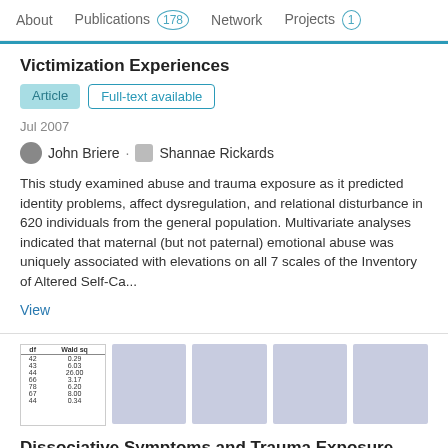About   Publications 178   Network   Projects 1
Victimization Experiences
Article   Full-text available
Jul 2007
John Briere · Shannae Rickards
This study examined abuse and trauma exposure as it predicted identity problems, affect dysregulation, and relational disturbance in 620 individuals from the general population. Multivariate analyses indicated that maternal (but not paternal) emotional abuse was uniquely associated with elevations on all 7 scales of the Inventory of Altered Self-Ca...
View
[Figure (table-as-image): Small thumbnail of a table with columns 'df' and 'Wald sq' with numeric rows]
[Figure (other): Gray placeholder thumbnail]
[Figure (other): Gray placeholder thumbnail]
[Figure (other): Gray placeholder thumbnail]
[Figure (other): Gray placeholder thumbnail]
Dissociative Symptoms and Trauma Exposure